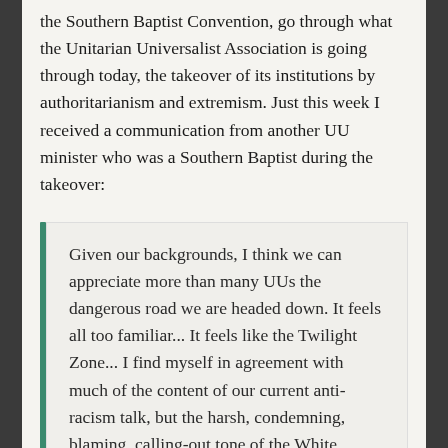the Southern Baptist Convention, go through what the Unitarian Universalist Association is going through today, the takeover of its institutions by authoritarianism and extremism. Just this week I received a communication from another UU minister who was a Southern Baptist during the takeover:
Given our backgrounds, I think we can appreciate more than many UUs the dangerous road we are headed down. It feels all too familiar... It feels like the Twilight Zone... I find myself in agreement with much of the content of our current anti-racism talk, but the harsh, condemning, blaming, calling-out tone of the White